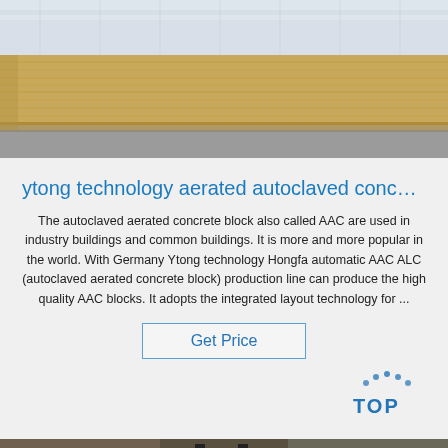[Figure (photo): Industrial material panel or sheet wrapped in plastic, close-up view showing layered construction material.]
ytong technology aerated autoclaved conc…
The autoclaved aerated concrete block also called AAC are used in industry buildings and common buildings. It is more and more popular in the world. With Germany Ytong technology Hongfa automatic AAC ALC (autoclaved aerated concrete block) production line can produce the high quality AAC blocks. It adopts the integrated layout technology for ...
Get Price
[Figure (photo): Factory interior showing a forklift in the center, with industrial machinery, yellow crane/equipment on the left, and green/metal structures on the right. Workers visible in background.]